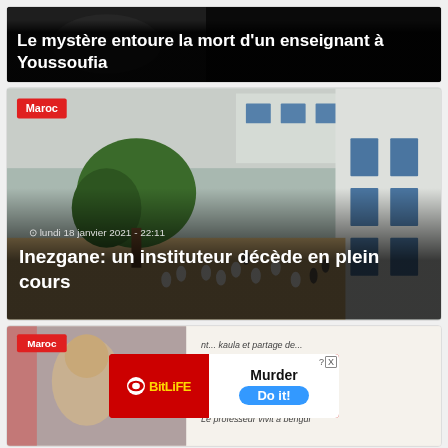[Figure (photo): Dark screenshot with news headline text overlay: 'Le mystère entoure la mort d'un enseignant à Youssoufia']
Le mystère entoure la mort d'un enseignant à Youssoufia
[Figure (photo): School courtyard with students playing, blue and white buildings. Tag: Maroc. Date: lundi 18 janvier 2021 - 22:11. Headline: Inezgane: un instituteur décède en plein cours]
lundi 18 janvier 2021 - 22:11
Inezgane: un instituteur décède en plein cours
[Figure (photo): Third news card with Maroc tag, showing a teacher and a whiteboard with handwritten notes. An advertisement overlay for BitLife game shows 'Murder Do it!']